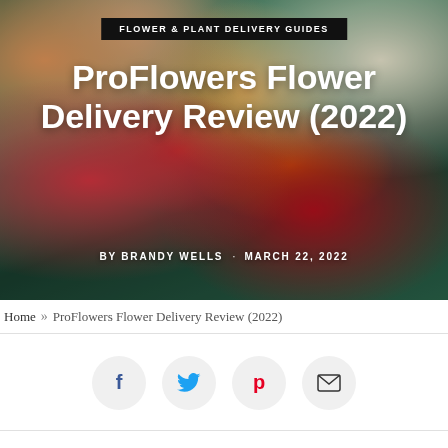[Figure (photo): Hero image of colorful roses (red, pink, orange, yellow, white) with green leaves as background for article header]
FLOWER & PLANT DELIVERY GUIDES
ProFlowers Flower Delivery Review (2022)
BY BRANDY WELLS · MARCH 22, 2022
Home » ProFlowers Flower Delivery Review (2022)
[Figure (infographic): Social sharing buttons: Facebook (blue f), Twitter (blue bird), Pinterest (red P), Email (envelope icon)]
Everything You Need to Know